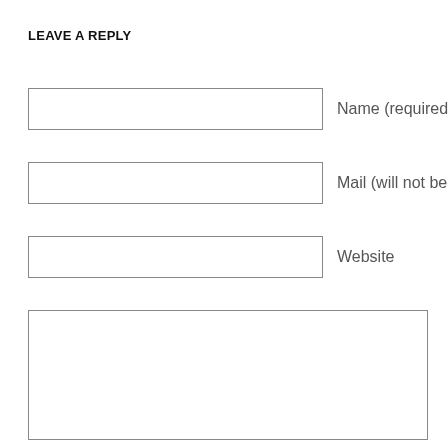LEAVE A REPLY
Name (required)
Mail (will not be p
Website
[Figure (other): Large empty textarea for comment input]